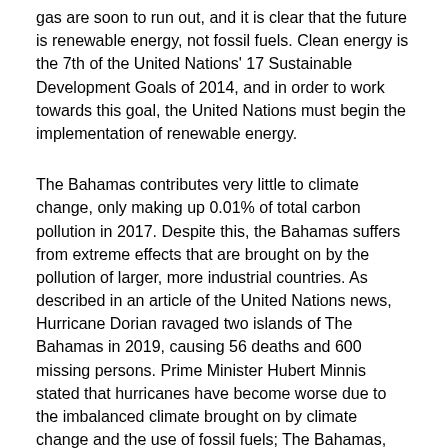gas are soon to run out, and it is clear that the future is renewable energy, not fossil fuels. Clean energy is the 7th of the United Nations' 17 Sustainable Development Goals of 2014, and in order to work towards this goal, the United Nations must begin the implementation of renewable energy.
The Bahamas contributes very little to climate change, only making up 0.01% of total carbon pollution in 2017. Despite this, the Bahamas suffers from extreme effects that are brought on by the pollution of larger, more industrial countries. As described in an article of the United Nations news, Hurricane Dorian ravaged two islands of The Bahamas in 2019, causing 56 deaths and 600 missing persons. Prime Minister Hubert Minnis stated that hurricanes have become worse due to the imbalanced climate brought on by climate change and the use of fossil fuels; The Bahamas, along with other island nations, are at great risk. 100% of Bahamian energy consumption comes from fossil fuels: 76% oil and 26% natural gas. It is difficult to adjust to other energy sources due to low budget and means of execution. However, due to the daunting future presented by the continued use of fossil fuels, The Bahamas has decided to make changes to its energy policies where possible. Because completely discarding fossil fuels is unrealistic, the Bahamas has first turned its focus to improving efficiency and reducing